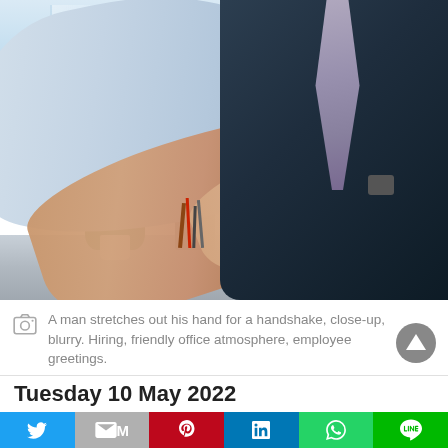[Figure (photo): A man in a blue dress shirt and striped tie stretches out his hand for a handshake, close-up photo with blurry office background including a plant, pencil holder, and desk surface.]
A man stretches out his hand for a handshake, close-up, blurry. Hiring, friendly office atmosphere, employee greetings.
Tuesday 10 May 2022
Twitter | Gmail | Pinterest | LinkedIn | WhatsApp | LINE